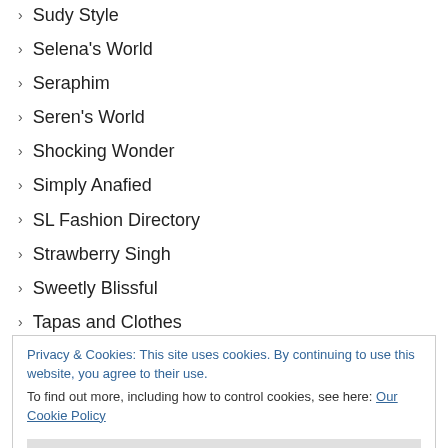Sudy Style
Selena's World
Seraphim
Seren's World
Shocking Wonder
Simply Anafied
SL Fashion Directory
Strawberry Singh
Sweetly Blissful
Tapas and Clothes
Tempest Fashion Closet
The Drax Files
The Kat's Meow
The SL Registry
The SL Spoon
Privacy & Cookies: This site uses cookies. By continuing to use this website, you agree to their use. To find out more, including how to control cookies, see here: Our Cookie Policy
Zsun